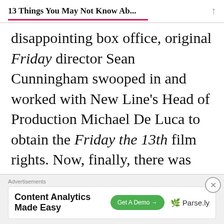13 Things You May Not Know Ab...
disappointing box office, original Friday director Sean Cunningham swooped in and worked with New Line's Head of Production Michael De Luca to obtain the Friday the 13th film rights. Now, finally, there was nothing stopping them from doing Freddy Vs. Jason except for the
Advertisements
[Figure (screenshot): Advertisement banner for Content Analytics Made Easy with a Get A Demo button and Parse.ly logo]